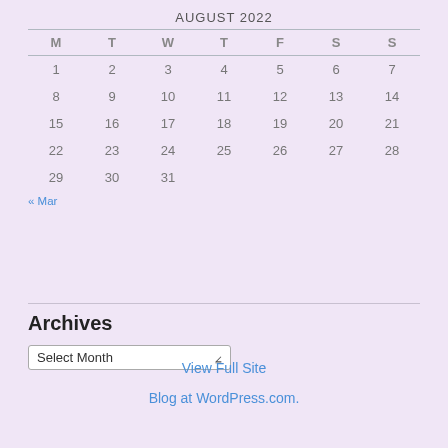| M | T | W | T | F | S | S |
| --- | --- | --- | --- | --- | --- | --- |
| 1 | 2 | 3 | 4 | 5 | 6 | 7 |
| 8 | 9 | 10 | 11 | 12 | 13 | 14 |
| 15 | 16 | 17 | 18 | 19 | 20 | 21 |
| 22 | 23 | 24 | 25 | 26 | 27 | 28 |
| 29 | 30 | 31 |  |  |  |  |
« Mar
Archives
Select Month
View Full Site
Blog at WordPress.com.